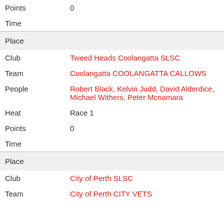| Points | 0 |
| Time |  |
| Place |  |
| Club | Tweed Heads Coolangatta SLSC |
| Team | Coolangatta COOLANGATTA CALLOWS |
| People | Robert Black, Kelvin Judd, David Alderdice, Michael Withers, Peter Mcnamara |
| Heat | Race 1 |
| Points | 0 |
| Time |  |
| Place |  |
| Club | City of Perth SLSC |
| Team | City of Perth CITY VETS |